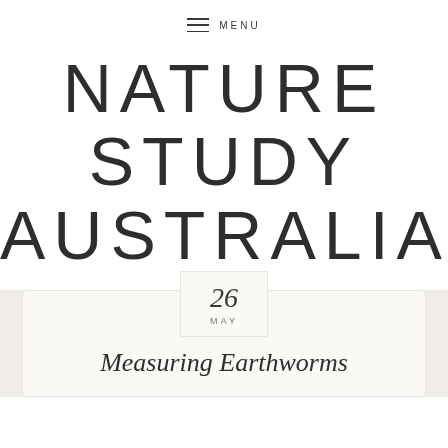≡ MENU
NATURE STUDY AUSTRALIA
26 MAY
Measuring Earthworms